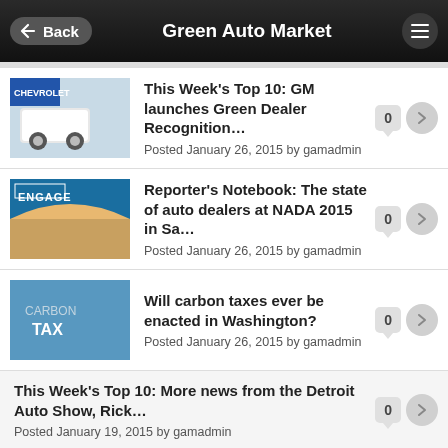Back | Green Auto Market
This Week's Top 10: GM launches Green Dealer Recognition...
Posted January 26, 2015 by gamadmin
Reporter's Notebook: The state of auto dealers at NADA 2015 in Sa...
Posted January 26, 2015 by gamadmin
Will carbon taxes ever be enacted in Washington?
Posted January 26, 2015 by gamadmin
This Week's Top 10: More news from the Detroit Auto Show, Rick...
Posted January 19, 2015 by gamadmin
Autonomous vehicles are becoming more real than you